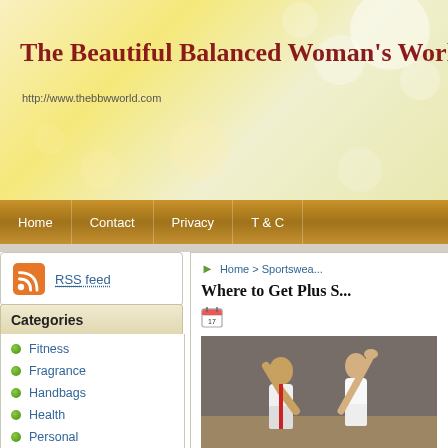The Beautiful Balanced Woman's World
http://www.thebbwworld.com
Home | Contact | Privacy | T & C
RSS feed
Categories
Fitness
Fragrance
Handbags
Health
Personal
Home > Sportswea...
Where to Get Plus S...
[Figure (photo): Two people on a tennis court, one with arm raised]